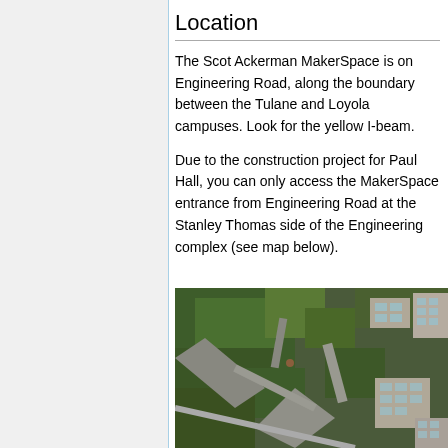Location
The Scot Ackerman MakerSpace is on Engineering Road, along the boundary between the Tulane and Loyola campuses. Look for the yellow I-beam.
Due to the construction project for Paul Hall, you can only access the MakerSpace entrance from Engineering Road at the Stanley Thomas side of the Engineering complex (see map below).
[Figure (photo): Aerial photograph showing the boundary area between Tulane and Loyola campuses, with buildings, trees, walkways, and roads visible from above.]